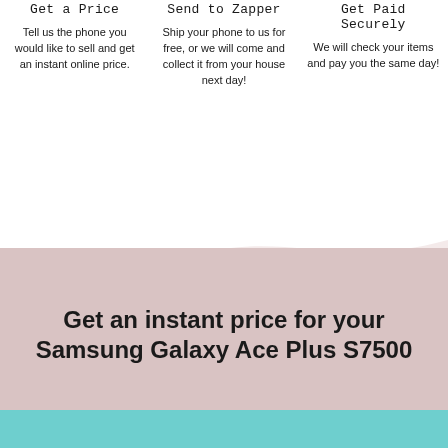Get a Price
Tell us the phone you would like to sell and get an instant online price.
Send to Zapper
Ship your phone to us for free, or we will come and collect it from your house next day!
Get Paid Securely
We will check your items and pay you the same day!
[Figure (illustration): Decorative wave background with light pink/mauve tones transitioning to a teal bottom band]
Get an instant price for your Samsung Galaxy Ace Plus S7500